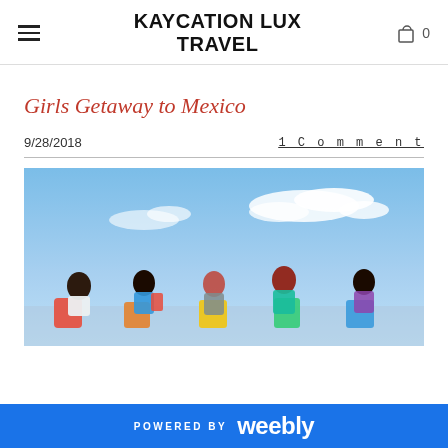KAYCATION LUX TRAVEL
Girls Getaway to Mexico
9/28/2018
1 Comment
[Figure (photo): Group of women sitting outdoors against a bright blue sky with clouds, colorful seats or barrels visible]
POWERED BY weebly